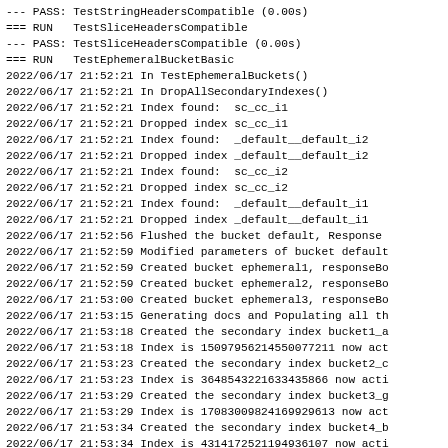--- PASS: TestStringHeadersCompatible (0.00s)
=== RUN   TestSliceHeadersCompatible
--- PASS: TestSliceHeadersCompatible (0.00s)
=== RUN   TestEphemeralBucketBasic
2022/06/17 21:52:21 In TestEphemeralBuckets()
2022/06/17 21:52:21 In DropAllSecondaryIndexes()
2022/06/17 21:52:21 Index found:  sc_cc_i1
2022/06/17 21:52:21 Dropped index sc_cc_i1
2022/06/17 21:52:21 Index found:  _default__default_i2
2022/06/17 21:52:21 Dropped index _default__default_i2
2022/06/17 21:52:21 Index found:  sc_cc_i2
2022/06/17 21:52:21 Dropped index sc_cc_i2
2022/06/17 21:52:21 Index found:  _default__default_i1
2022/06/17 21:52:21 Dropped index _default__default_i1
2022/06/17 21:52:56 Flushed the bucket default, Response
2022/06/17 21:52:59 Modified parameters of bucket default
2022/06/17 21:52:59 Created bucket ephemeral1, responseBo
2022/06/17 21:52:59 Created bucket ephemeral2, responseBo
2022/06/17 21:53:00 Created bucket ephemeral3, responseBo
2022/06/17 21:53:15 Generating docs and Populating all th
2022/06/17 21:53:18 Created the secondary index bucket1_a
2022/06/17 21:53:18 Index is 15097956214550077211 now act
2022/06/17 21:53:23 Created the secondary index bucket2_c
2022/06/17 21:53:23 Index is 3648543221633435866 now acti
2022/06/17 21:53:29 Created the secondary index bucket3_g
2022/06/17 21:53:29 Index is 17083009824169929613 now act
2022/06/17 21:53:34 Created the secondary index bucket4_b
2022/06/17 21:53:34 Index is 4314172521194936107 now acti
2022/06/17 21:53:37 Using n1ql client
2022/06/17 21:53:37 Expected and Actual scan responses ar